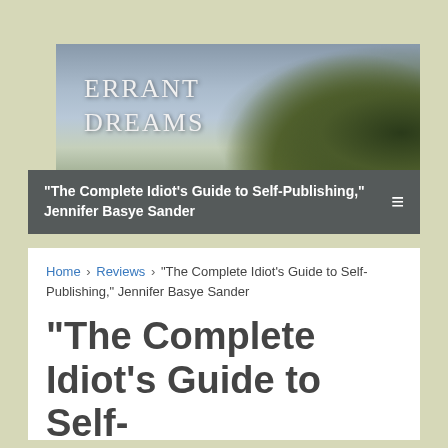[Figure (photo): Errant Dreams website header banner showing a stylized landscape with cloudy sky and dark trees, with 'Errant Dreams' text overlaid in white serif font]
"The Complete Idiot's Guide to Self-Publishing," Jennifer Basye Sander
Home › Reviews › "The Complete Idiot's Guide to Self-Publishing," Jennifer Basye Sander
"The Complete Idiot's Guide to Self-Publishing," Jennifer Basye Sander